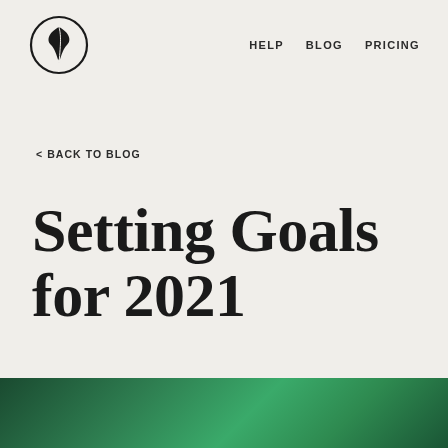HELP  BLOG  PRICING
[Figure (logo): Circular logo with a feather/quill pen inside a black circle outline]
< BACK TO BLOG
Setting Goals for 2021